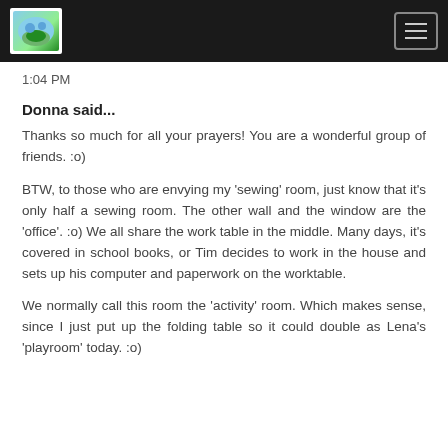Navigation bar with logo and menu icon
1:04 PM
Donna said...
Thanks so much for all your prayers! You are a wonderful group of friends. :o)
BTW, to those who are envying my 'sewing' room, just know that it's only half a sewing room. The other wall and the window are the 'office'. :o) We all share the work table in the middle. Many days, it's covered in school books, or Tim decides to work in the house and sets up his computer and paperwork on the worktable.
We normally call this room the 'activity' room. Which makes sense, since I just put up the folding table so it could double as Lena's 'playroom' today. :o)